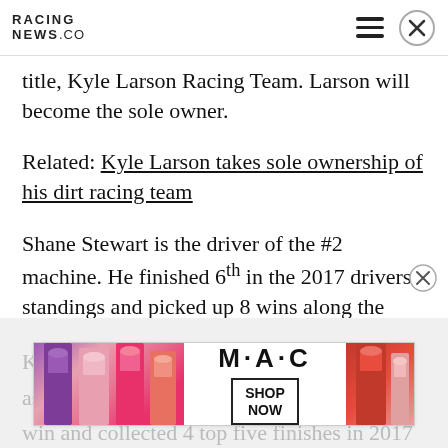RACING NEWS.CO
title, Kyle Larson Racing Team. Larson will become the sole owner.
Related: Kyle Larson takes sole ownership of his dirt racing team
Shane Stewart is the driver of the #2 machine. He finished 6th in the 2017 drivers standings and picked up 8 wins along the way.
Kyle ... #57 as of ... WoO win and collected 4 top five finishes in 2017
[Figure (screenshot): MAC Cosmetics advertisement banner showing colorful lipsticks with 'SHOP NOW' button]